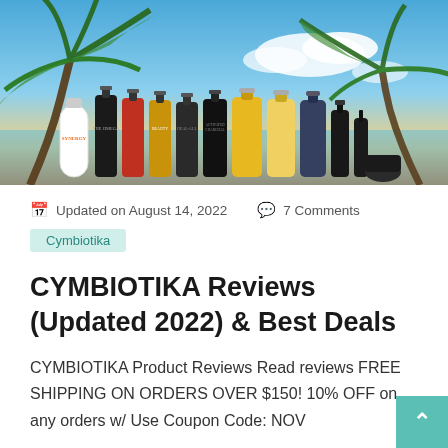[Figure (photo): Hero image showing a lineup of Cymbiotika supplement bottles and dropper products arranged in a row against a tropical beach background with palm trees and blue sky.]
Updated on August 14, 2022    7 Comments
Cymbiotika
CYMBIOTIKA Reviews (Updated 2022) & Best Deals
CYMBIOTIKA Product Reviews Read reviews FREE SHIPPING ON ORDERS OVER $150! 10% OFF on any orders w/ Use Coupon Code: NOV